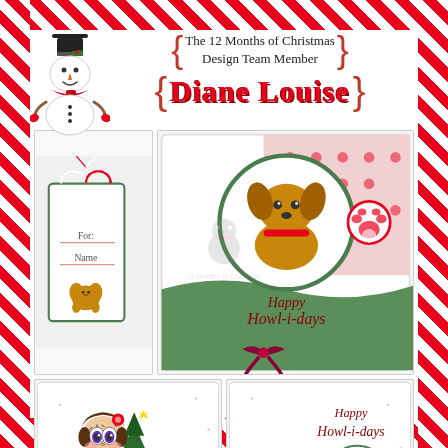The 12 Months of Christmas Design Team Member
Diane Louise
[Figure (illustration): Snowman with black top hat, red scarf and mittens, orange carrot nose, smiling face]
[Figure (photo): Collage of handmade Christmas cards featuring puppy and dog illustrations. Top left: gift tag with small puppy and red/white twine. Top right: card with puppy in circle, paw print, green wavy border, dark pink bow, text Happy Howl-i-days. Bottom left: card with big-eyed girl holding Christmas tree with green dog, dark pink bow. Bottom right: card with Happy Howl-i-days text, puppy with paw print circle, patterned bottom strip.]